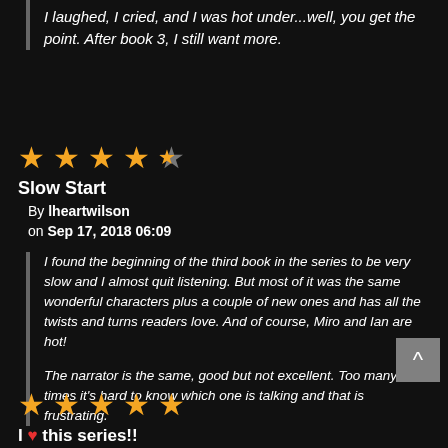I laughed, I cried, and I was hot under...well, you get the point. After book 3, I still want more.
[Figure (other): 4 out of 5 stars rating (4 filled yellow stars, 1 gray half star)]
Slow Start
By lheartwilson
on Sep 17, 2018 06:09
I found the beginning of the third book in the series to be very slow and I almost quit listening. But most of it was the same wonderful characters plus a couple of new ones and has all the twists and turns readers love. And of course, Miro and Ian are hot!
The narrator is the same, good but not excellent. Too many times it's hard to know which one is talking and that is frustrating.
[Figure (other): 5 out of 5 stars rating (5 filled yellow stars)]
I ♥ this series!!